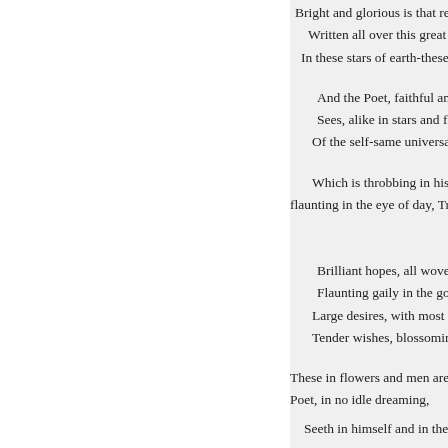Bright and glorious is that revela-
Written all over this great wor-
In these stars of earth-these go-

And the Poet, faithful and fa-
Sees, alike in stars and flo-
Of the self-same universal b-

Which is throbbing in his brai-
flaunting in the eye of day, Trem-

Brilliant hopes, all woven i-
Flaunting gaily in the gold-
Large desires, with most un-
Tender wishes, blossoming-

These in flowers and men are mo-
Poet, in no idle dreaming,

Seeth in himself and in the flo-

Everywhere about us are they gle-